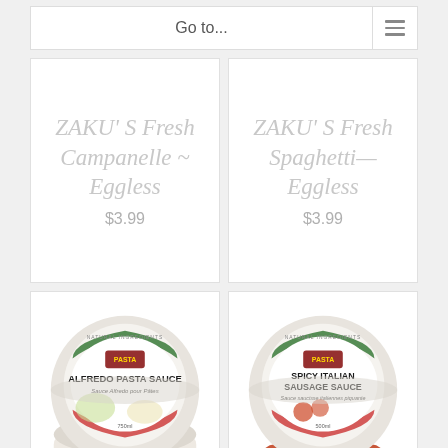Go to...
ZAKU'S Fresh Campanelle ~ Eggless
$3.99
ZAKU'S Fresh Spaghetti— Eggless
$3.99
[Figure (photo): Container of Alfredo Pasta Sauce – Gourmet Italian Pasta, Natural Ingredients, 750ml]
[Figure (photo): Container of Spicy Italian Sausage Sauce – Gourmet Italian Pasta, Natural Ingredients, 500ml]